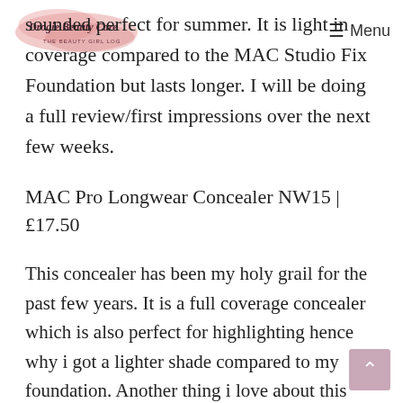Drogie Beauty Care — Menu
sounded perfect for summer. It is light in coverage compared to the MAC Studio Fix Foundation but lasts longer. I will be doing a full review/first impressions over the next few weeks.
MAC Pro Longwear Concealer NW15 | £17.50
This concealer has been my holy grail for the past few years. It is a full coverage concealer which is also perfect for highlighting hence why i got a lighter shade compared to my foundation. Another thing i love about this concealer is that a little goes a long way and it can last me months!